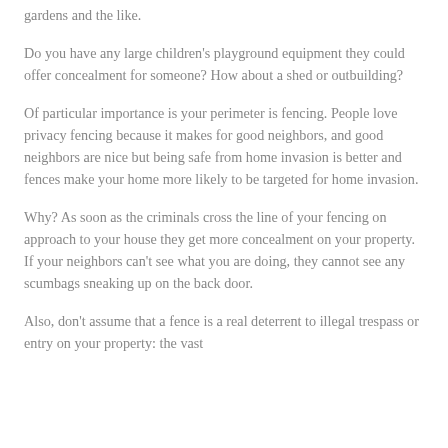gardens and the like.
Do you have any large children's playground equipment they could offer concealment for someone? How about a shed or outbuilding?
Of particular importance is your perimeter is fencing. People love privacy fencing because it makes for good neighbors, and good neighbors are nice but being safe from home invasion is better and fences make your home more likely to be targeted for home invasion.
Why? As soon as the criminals cross the line of your fencing on approach to your house they get more concealment on your property. If your neighbors can't see what you are doing, they cannot see any scumbags sneaking up on the back door.
Also, don't assume that a fence is a real deterrent to illegal trespass or entry on your property: the vast